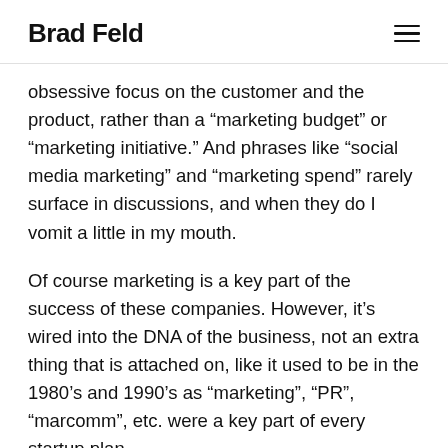Brad Feld
obsessive focus on the customer and the product, rather than a “marketing budget” or “marketing initiative.” And phrases like “social media marketing” and “marketing spend” rarely surface in discussions, and when they do I vomit a little in my mouth.
Of course marketing is a key part of the success of these companies. However, it’s wired into the DNA of the business, not an extra thing that is attached on, like it used to be in the 1980’s and 1990’s as “marketing”, “PR”, “marcomm”, etc. were a key part of every startup plan.
I’m currently in a world of conservation of words